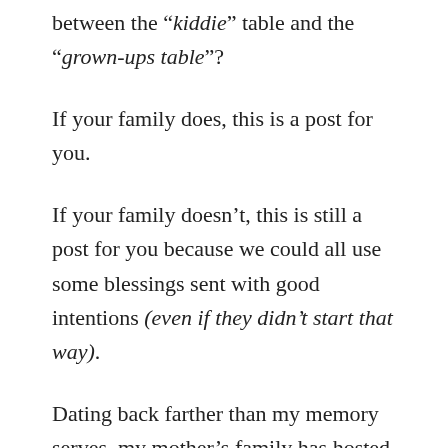between the “kiddie” table and the “grown-ups table”?
If your family does, this is a post for you.
If your family doesn’t, this is still a post for you because we could all use some blessings sent with good intentions (even if they didn’t start that way).
Dating back farther than my memory serves, my mother’s family has hosted all of its meals with separate tables for children and adults. As our legs and